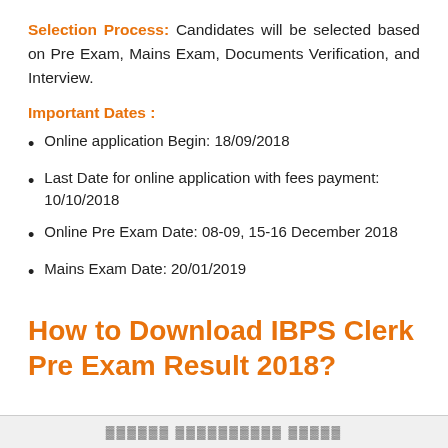Selection Process: Candidates will be selected based on Pre Exam, Mains Exam, Documents Verification, and Interview.
Important Dates :
Online application Begin: 18/09/2018
Last Date for online application with fees payment: 10/10/2018
Online Pre Exam Date: 08-09, 15-16 December 2018
Mains Exam Date: 20/01/2019
How to Download IBPS Clerk Pre Exam Result 2018?
▓▓▓▓▓▓ ▓▓▓▓▓▓▓▓▓▓ ▓▓▓▓▓